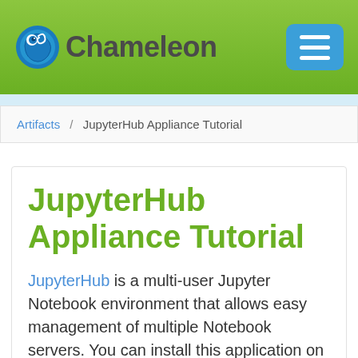Chameleon
Artifacts / JupyterHub Appliance Tutorial
JupyterHub Appliance Tutorial
JupyterHub is a multi-user Jupyter Notebook environment that allows easy management of multiple Notebook servers. You can install this application on a node reserved by Chameleon to allow you to take advantage of additional resources, e.g. a private experiment network you provide or